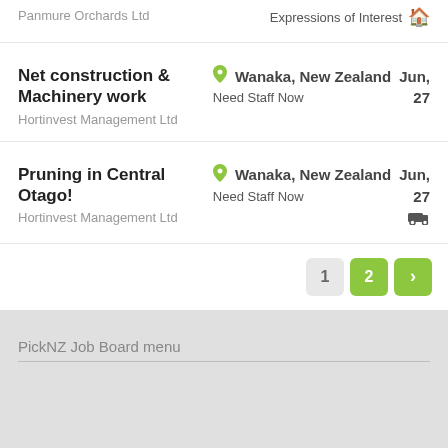Panmure Orchards Ltd
Expressions of Interest
Net construction & Machinery work
Hortinvest Management Ltd
Wanaka, New Zealand
Jun, 27
Need Staff Now
Pruning in Central Otago!
Hortinvest Management Ltd
Wanaka, New Zealand
Jun, 27
Need Staff Now
1 2 >
PickNZ Job Board menu